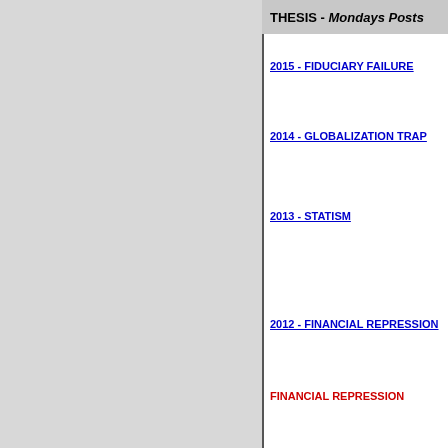THESIS - Mondays Posts
2015 - FIDUCIARY FAILURE
2014 - GLOBALIZATION TRAP
2013 - STATISM
2012 - FINANCIAL REPRESSION
FINANCIAL REPRESSION